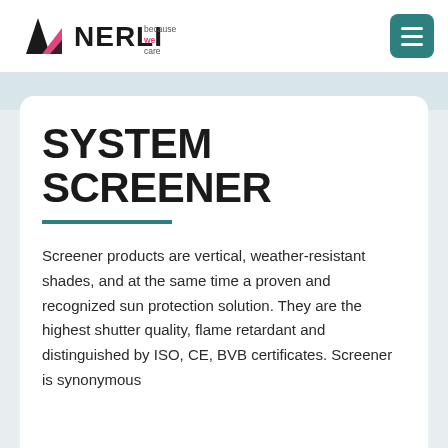NERLI because we care
SYSTEM SCREENER
Screener products are vertical, weather-resistant shades, and at the same time a proven and recognized sun protection solution. They are the highest shutter quality, flame retardant and distinguished by ISO, CE, BVB certificates. Screener is synonymous